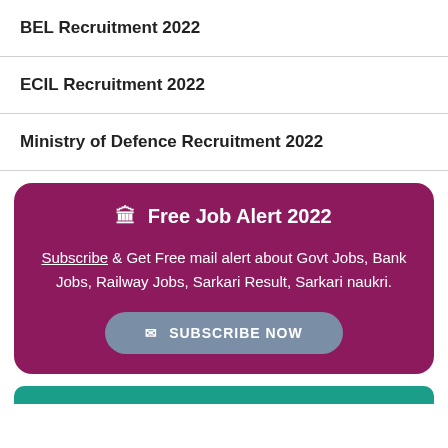BEL Recruitment 2022
ECIL Recruitment 2022
Ministry of Defence Recruitment 2022
[Figure (infographic): Magenta rounded card with heading 'Free Job Alert 2022', body text about subscription for govt job alerts, and a 'Subscribe Now' button]
Subscribe & Get Free mail alert about Govt Jobs, Bank Jobs, Railway Jobs, Sarkari Result, Sarkari naukri.